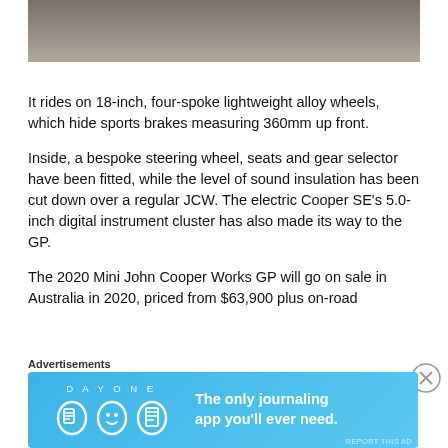[Figure (photo): Partial top view of a car on a road surface, cropped — only the lower portion visible against grey asphalt background]
It rides on 18-inch, four-spoke lightweight alloy wheels, which hide sports brakes measuring 360mm up front.
Inside, a bespoke steering wheel, seats and gear selector have been fitted, while the level of sound insulation has been cut down over a regular JCW. The electric Cooper SE's 5.0-inch digital instrument cluster has also made its way to the GP.
The 2020 Mini John Cooper Works GP will go on sale in Australia in 2020, priced from $63,900 plus on-road
Advertisements
[Figure (screenshot): Day One journaling app advertisement banner with blue background, app icons, and text: 'The only journaling app you'll ever need.']